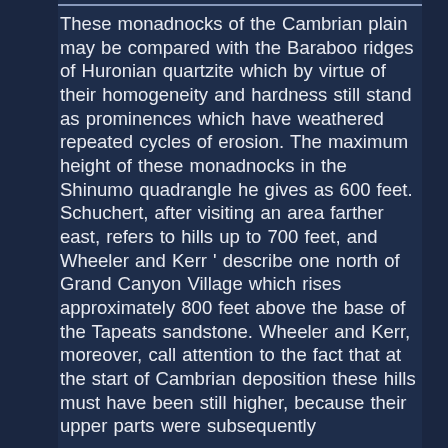These monadnocks of the Cambrian plain may be compared with the Baraboo ridges of Huronian quartzite which by virtue of their homogeneity and hardness still stand as prominences which have weathered repeated cycles of erosion. The maximum height of these monadnocks in the Shinumo quadrangle he gives as 600 feet. Schuchert, after visiting an area farther east, refers to hills up to 700 feet, and Wheeler and Kerr ' describe one north of Grand Canyon Village which rises approximately 800 feet above the base of the Tapeats sandstone. Wheeler and Kerr, moreover, call attention to the fact that at the start of Cambrian deposition these hills must have been still higher, because their upper parts were subsequently